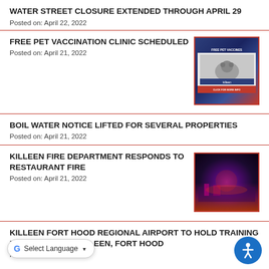WATER STREET CLOSURE EXTENDED THROUGH APRIL 29
Posted on: April 22, 2022
FREE PET VACCINATION CLINIC SCHEDULED
Posted on: April 21, 2022
[Figure (photo): Free Pet Vaccines flyer with blue background and dog image]
BOIL WATER NOTICE LIFTED FOR SEVERAL PROPERTIES
Posted on: April 21, 2022
KILLEEN FIRE DEPARTMENT RESPONDS TO RESTAURANT FIRE
Posted on: April 21, 2022
[Figure (photo): Night photo of fire department responding to restaurant fire with purple and red lighting]
KILLEEN FORT HOOD REGIONAL AIRPORT TO HOLD TRAINING EXERCISE WITH KILLEEN, FORT HOOD
Posted on: April 20, 2022